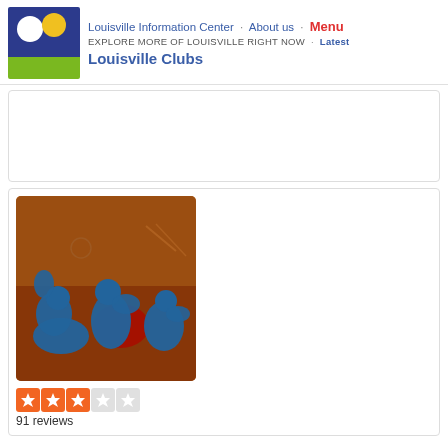Louisville Information Center · About us · Menu
EXPLORE MORE OF LOUISVILLE RIGHT NOW · Latest
Louisville Clubs
[Figure (photo): Colorful mural artwork featuring blue stylized figures dancing or moving against an orange/red background with graffiti-style imagery]
91 reviews